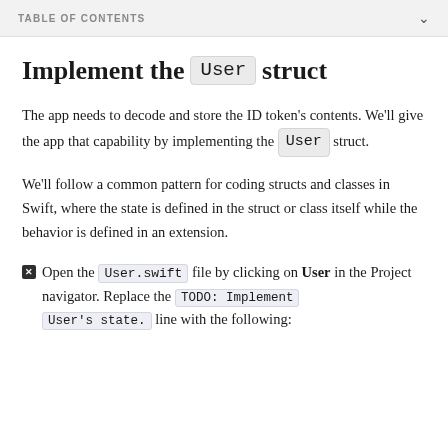TABLE OF CONTENTS
Implement the User struct
The app needs to decode and store the ID token's contents. We'll give the app that capability by implementing the User struct.
We'll follow a common pattern for coding structs and classes in Swift, where the state is defined in the struct or class itself while the behavior is defined in an extension.
Open the User.swift file by clicking on User in the Project navigator. Replace the TODO: Implement User's state. line with the following: